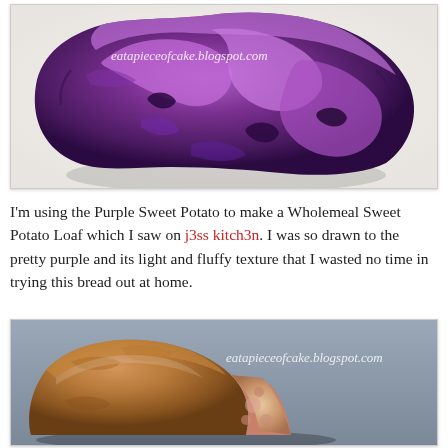[Figure (photo): A cooked purple sweet potato on a white plate, showing bright purple flesh. Watermark reads 'eatapieceofcake.blogspot.com'.]
I'm using the Purple Sweet Potato to make a Wholemeal Sweet Potato Loaf which I saw on j3ss kitch3n. I was so drawn to the pretty purple and its light and fluffy texture that I wasted no time in trying this bread out at home.
[Figure (photo): A golden-brown bread loaf/roll with a soft interior visible, set against a gray background. Watermark reads 'eatapieceofcake.blogspot.com'.]